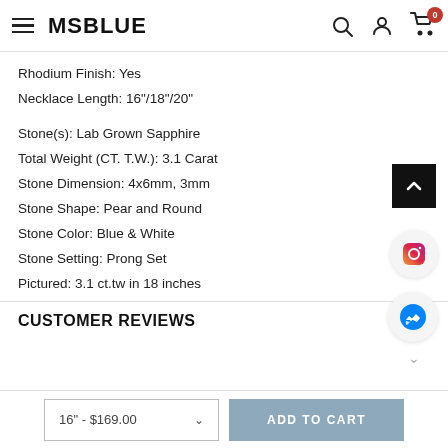MSBLUE
Rhodium Finish: Yes
Necklace Length: 16"/18"/20"
Stone(s): Lab Grown Sapphire
Total Weight (CT. T.W.): 3.1 Carat
Stone Dimension: 4x6mm, 3mm
Stone Shape: Pear and Round
Stone Color: Blue & White
Stone Setting: Prong Set
Pictured: 3.1 ct.tw in 18 inches
CUSTOMER REVIEWS
16" - $169.00  ADD TO CART